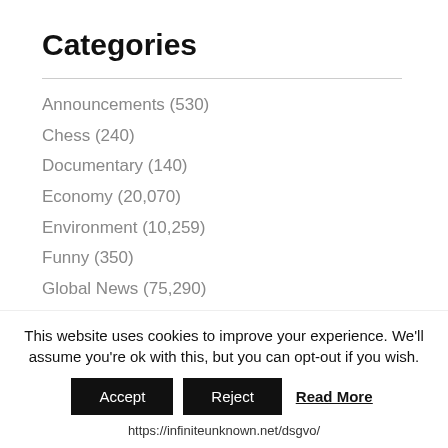Categories
Announcements (530)
Chess (240)
Documentary (140)
Economy (20,070)
Environment (10,259)
Funny (350)
Global News (75,290)
Good News (124)
Health (13,405)
Music (75)
Outdoor (88)
This website uses cookies to improve your experience. We'll assume you're ok with this, but you can opt-out if you wish.
Accept  Reject  Read More
https://infiniteunknown.net/dsgvo/